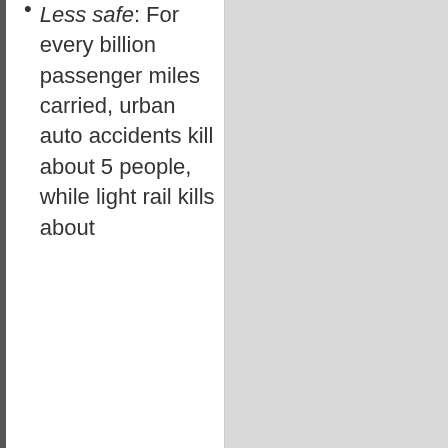Less safe: For every billion passenger miles carried, urban auto accidents kill about 5 people, while light rail kills about